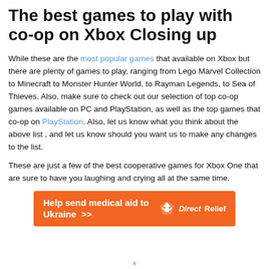The best games to play with co-op on Xbox Closing up
While these are the most popular games that available on Xbox but there are plenty of games to play, ranging from Lego Marvel Collection to Minecraft to Monster Hunter World, to Rayman Legends, to Sea of Thieves. Also, make sure to check out our selection of top co-op games available on PC and PlayStation, as well as the top games that co-op on PlayStation. Also, let us know what you think about the above list , and let us know should you want us to make any changes to the list.
These are just a few of the best cooperative games for Xbox One that are sure to have you laughing and crying all at the same time.
[Figure (infographic): Orange banner advertisement reading 'Help send medical aid to Ukraine >>' with DirectRelief logo on the right side.]